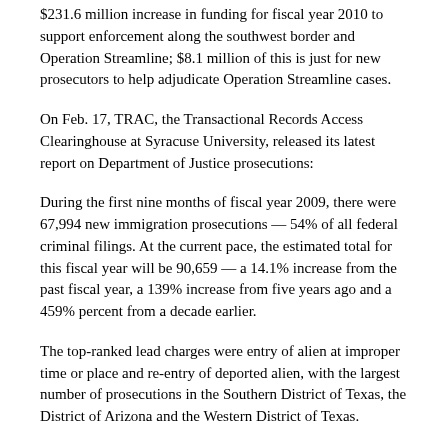$231.6 million increase in funding for fiscal year 2010 to support enforcement along the southwest border and Operation Streamline; $8.1 million of this is just for new prosecutors to help adjudicate Operation Streamline cases.
On Feb. 17, TRAC, the Transactional Records Access Clearinghouse at Syracuse University, released its latest report on Department of Justice prosecutions:
During the first nine months of fiscal year 2009, there were 67,994 new immigration prosecutions — 54% of all federal criminal filings. At the current pace, the estimated total for this fiscal year will be 90,659 — a 14.1% increase from the past fiscal year, a 139% increase from five years ago and a 459% percent from a decade earlier.
The top-ranked lead charges were entry of alien at improper time or place and re-entry of deported alien, with the largest number of prosecutions in the Southern District of Texas, the District of Arizona and the Western District of Texas.
"If you take out immigration prosecutions, the number of prosecutions is going down, including felonies," said TRAC's Susan Long.